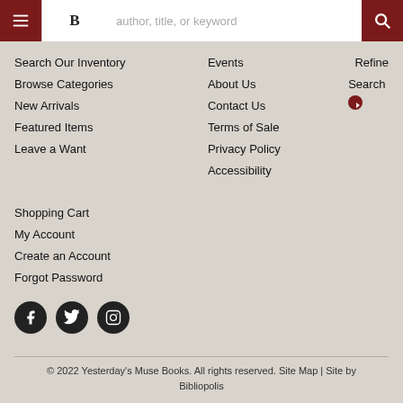Navigation header with menu, logo, search input, search button
Search Our Inventory
Browse Categories
New Arrivals
Featured Items
Leave a Want
Events
About Us
Contact Us
Terms of Sale
Privacy Policy
Accessibility
Refine Search
Shopping Cart
My Account
Create an Account
Forgot Password
[Figure (illustration): Social media icons: Facebook, Twitter, Instagram]
© 2022 Yesterday's Muse Books. All rights reserved. Site Map | Site by Bibliopolis